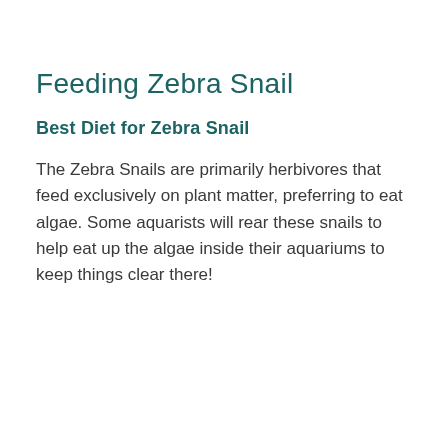Feeding Zebra Snail
Best Diet for Zebra Snail
The Zebra Snails are primarily herbivores that feed exclusively on plant matter, preferring to eat algae. Some aquarists will rear these snails to help eat up the algae inside their aquariums to keep things clear there!